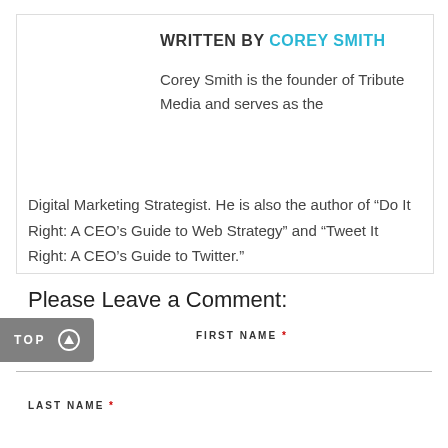[Figure (photo): Circular headshot photo of Corey Smith, a man in a white shirt, smiling, with a green background.]
WRITTEN BY COREY SMITH
Corey Smith is the founder of Tribute Media and serves as the Digital Marketing Strategist. He is also the author of "Do It Right: A CEO's Guide to Web Strategy" and "Tweet It Right: A CEO's Guide to Twitter."
Please Leave a Comment:
TOP
FIRST NAME *
LAST NAME *